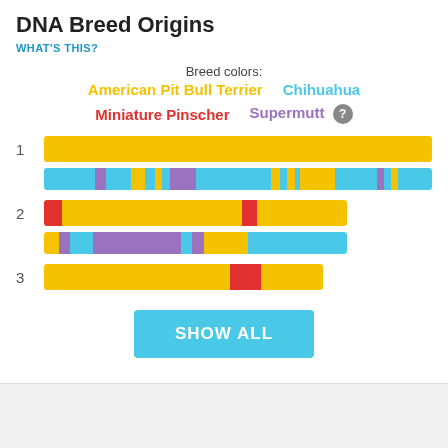DNA Breed Origins
WHAT'S THIS?
[Figure (infographic): DNA breed origin chromosome bars showing genetic composition across 3 chromosome pairs using color-coded breed segments: American Pit Bull Terrier (yellow), Chihuahua (light blue), Miniature Pinscher (red), Supermutt (purple)]
SHOW ALL